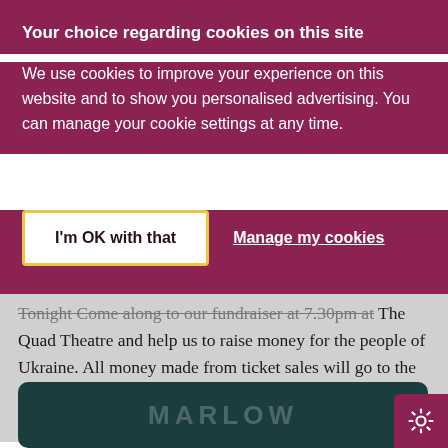Your choice regarding cookies on this site
We use cookies to improve your experience on this website and to show you personalised advertising. You can manage your cookie settings at any time.
I'm OK with that
Manage my cookies
Tonight Come along to our fundraiser at 7.30pm at The Quad Theatre and help us to raise money for the people of Ukraine. All money made from ticket sales will go to the Disaster Emergency Committee who work with some of the top aid agencies to
[Figure (screenshot): Dark teal image block showing a logo (partially visible, appears to be MARLOW or similar) in the lower portion of the page]